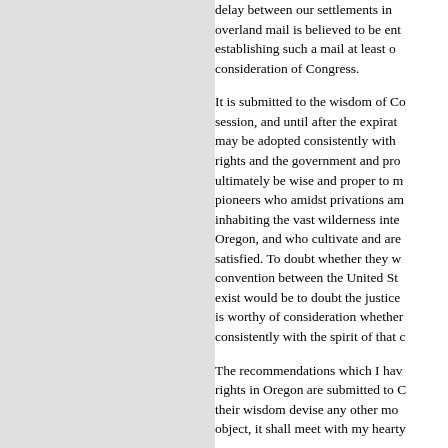delay between our settlements in overland mail is believed to be ent establishing such a mail at least o consideration of Congress.
It is submitted to the wisdom of Co session, and until after the expirat may be adopted consistently with rights and the government and pro ultimately be wise and proper to m pioneers who amidst privations am inhabiting the vast wilderness inte Oregon, and who cultivate and are satisfied. To doubt whether they w convention between the United St exist would be to doubt the justice is worthy of consideration whether consistently with the spirit of that c
The recommendations which I hav rights in Oregon are submitted to C their wisdom devise any other mo object, it shall meet with my hearty
At the end of the year's notice, sho for giving that notice, we shall hav Oregon must either be abandoned abandoned without a sacrifice of b